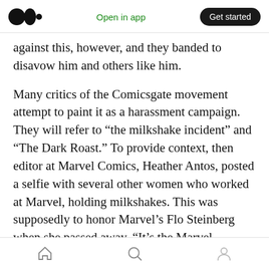Medium logo | Open in app | Get started
against this, however, and they banded to disavow him and others like him.
Many critics of the Comicsgate movement attempt to paint it as a harassment campaign. They will refer to “the milkshake incident” and “The Dark Roast.” To provide context, then editor at Marvel Comics, Heather Antos, posted a selfie with several other women who worked at Marvel, holding milkshakes. This was supposedly to honor Marvel’s Flo Steinberg when she passed away. “It’s the Marvel milkshake crew!” she posted. Most comments were positive, but some
Home | Search | Profile